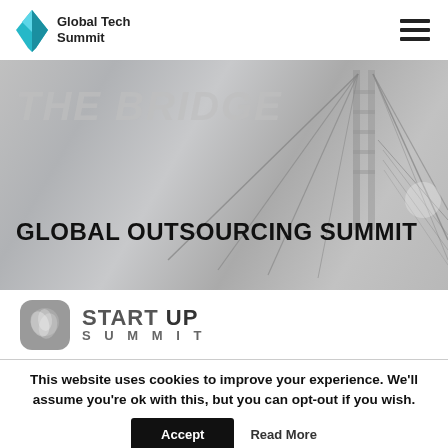Global Tech Summit
[Figure (screenshot): Hero banner with bridge image in grayscale, text 'THE BRIDGE' and 'GLOBAL OUTSOURCING SUMMIT']
GLOBAL OUTSOURCING SUMMIT
[Figure (logo): Startup Summit logo with icon and text 'START UP SUMMIT']
This website uses cookies to improve your experience. We'll assume you're ok with this, but you can opt-out if you wish.
Accept   Read More